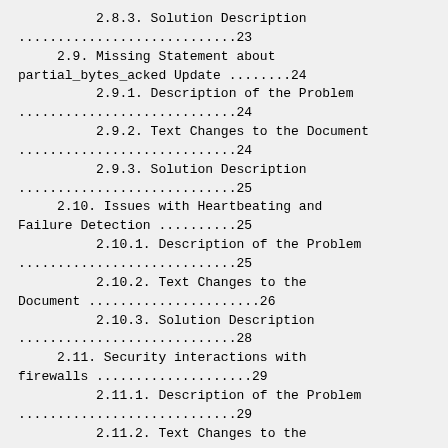2.8.3. Solution Description ............................23
2.9. Missing Statement about partial_bytes_acked Update ........24
2.9.1. Description of the Problem ............................24
2.9.2. Text Changes to the Document ............................24
2.9.3. Solution Description ............................25
2.10. Issues with Heartbeating and Failure Detection ..........25
2.10.1. Description of the Problem ............................25
2.10.2. Text Changes to the Document ............................26
2.10.3. Solution Description ............................28
2.11. Security interactions with firewalls ....................29
2.11.1. Description of the Problem ............................29
2.11.2. Text Changes to the